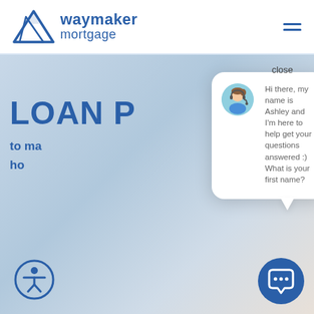[Figure (logo): Waymaker Mortgage logo with mountain peaks icon and blue text reading 'waymaker mortgage']
close
LOAN P
to ma
ho
[Figure (screenshot): Chat popup with avatar of Ashley (customer service agent with headset) and message: 'Hi there, my name is Ashley and I'm here to help get your questions answered :) What is your first name?']
[Figure (illustration): Accessibility icon button (person in circle) in bottom left corner]
[Figure (illustration): Chat bubble button in bottom right corner]